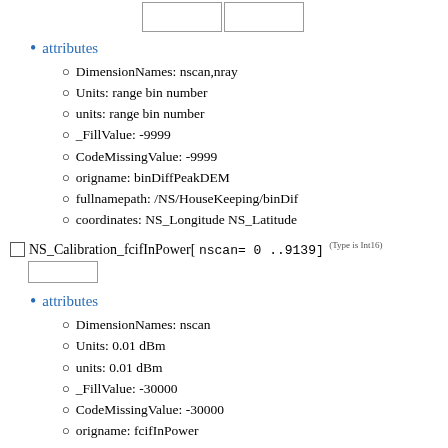[Figure (other): Two small empty rectangular boxes side by side at the top of the page]
attributes
DimensionNames: nscan,nray
Units: range bin number
units: range bin number
_FillValue: -9999
CodeMissingValue: -9999
origname: binDiffPeakDEM
fullnamepath: /NS/HouseKeeping/binDif
coordinates: NS_Longitude NS_Latitude
NS_Calibration_fcifInPower[ nscan= 0 ..9139] (Type is Int16)
[Figure (other): One small empty rectangular box]
attributes
DimensionNames: nscan
Units: 0.01 dBm
units: 0.01 dBm
_FillValue: -30000
CodeMissingValue: -30000
origname: fcifInPower
fullnamepath: /NS/Calibration/fcifInPowe
NS_Calibration_intAttSelect[ nscan= 0 ..9139] (Type is Int16)